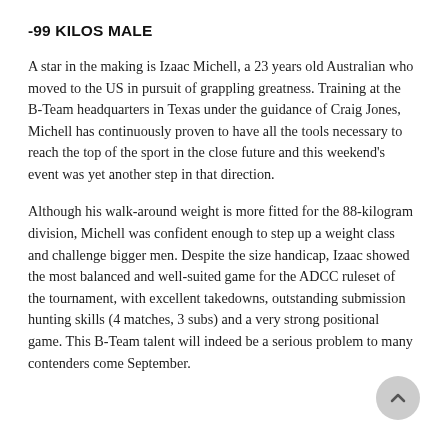-99 KILOS MALE
A star in the making is Izaac Michell, a 23 years old Australian who moved to the US in pursuit of grappling greatness. Training at the B-Team headquarters in Texas under the guidance of Craig Jones, Michell has continuously proven to have all the tools necessary to reach the top of the sport in the close future and this weekend's event was yet another step in that direction.
Although his walk-around weight is more fitted for the 88-kilogram division, Michell was confident enough to step up a weight class and challenge bigger men. Despite the size handicap, Izaac showed the most balanced and well-suited game for the ADCC ruleset of the tournament, with excellent takedowns, outstanding submission hunting skills (4 matches, 3 subs) and a very strong positional game. This B-Team talent will indeed be a serious problem to many contenders come September.